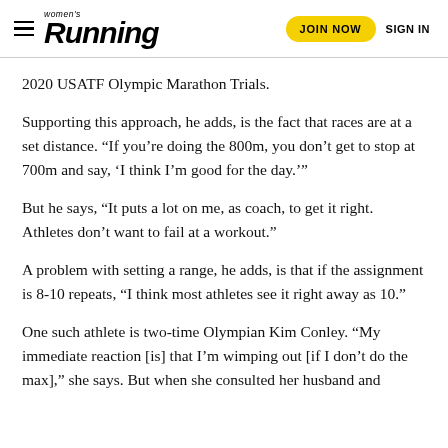women's Running — JOIN NOW   SIGN IN
2020 USATF Olympic Marathon Trials.
Supporting this approach, he adds, is the fact that races are at a set distance. “If you’re doing the 800m, you don’t get to stop at 700m and say, ‘I think I’m good for the day.’”
But he says, “It puts a lot on me, as coach, to get it right. Athletes don’t want to fail at a workout.”
A problem with setting a range, he adds, is that if the assignment is 8-10 repeats, “I think most athletes see it right away as 10.”
One such athlete is two-time Olympian Kim Conley. “My immediate reaction [is] that I’m wimping out [if I don’t do the max],” she says. But when she consulted her husband and